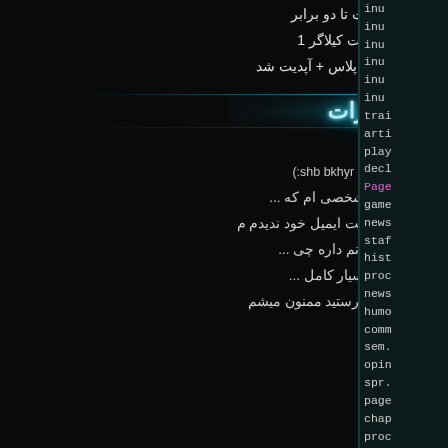آفزایش سرعت اینترنت تا دو برابر
آموزش تصویری ساخت کیلاگر 1
کد های کاربردی با سی پلاس پلاس + آپدیت شد
آخرین نظرات
رمز
(:shb bkhyr bro  mishe rmzo bdi ltfn
سلام . عرض ادب  من یه شخصی ام که ...
سلام ببخشید من قسمتی برای تبت ایمیل خود ندیدم م
دادا یه سوال مال نمی دونم داره چی ...
سلام با تشکر از شما بسیار کامل ...
سلام لطفا رمز رو برای من بفرستید ممنون میشم
inu
inu
inu
inu
inu
inu
tra
arti
pla
decl
Page
game
news
staf
hist
proc
news
humo
comm
sem.
opin
spr.
page
chap
proc
view
view
webs
host